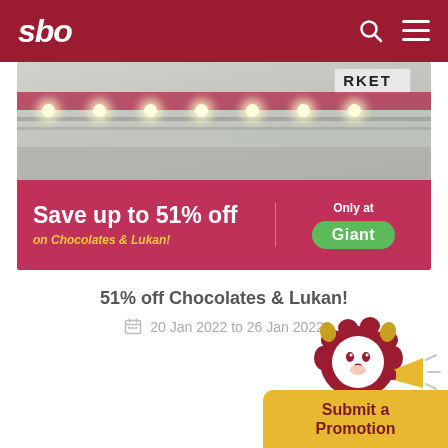sbo
[Figure (photo): Promotional banner image showing a supermarket interior with a pink/crimson overlay banner reading 'Save up to 51% off on Chocolates & Lukan! Only at Giant']
51% off Chocolates & Lukan!
20 Jan 2022 to 26 Jan 2022
[Figure (illustration): Mascot lion character with a megaphone above a yellow 'Submit a Promotion' button]